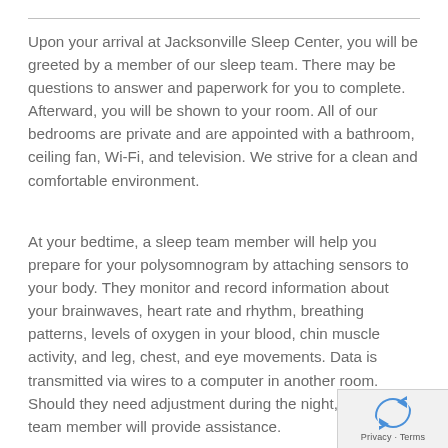Upon your arrival at Jacksonville Sleep Center, you will be greeted by a member of our sleep team. There may be questions to answer and paperwork for you to complete. Afterward, you will be shown to your room. All of our bedrooms are private and are appointed with a bathroom, ceiling fan, Wi-Fi, and television. We strive for a clean and comfortable environment.
At your bedtime, a sleep team member will help you prepare for your polysomnogram by attaching sensors to your body. They monitor and record information about your brainwaves, heart rate and rhythm, breathing patterns, levels of oxygen in your blood, chin muscle activity, and leg, chest, and eye movements. Data is transmitted via wires to a computer in another room. Should they need adjustment during the night, a sleep team member will provide assistance.